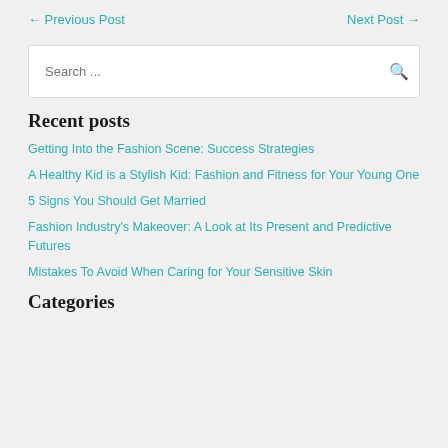← Previous Post    Next Post →
Search ...
Recent posts
Getting Into the Fashion Scene: Success Strategies
A Healthy Kid is a Stylish Kid: Fashion and Fitness for Your Young One
5 Signs You Should Get Married
Fashion Industry's Makeover: A Look at Its Present and Predictive Futures
Mistakes To Avoid When Caring for Your Sensitive Skin
Categories